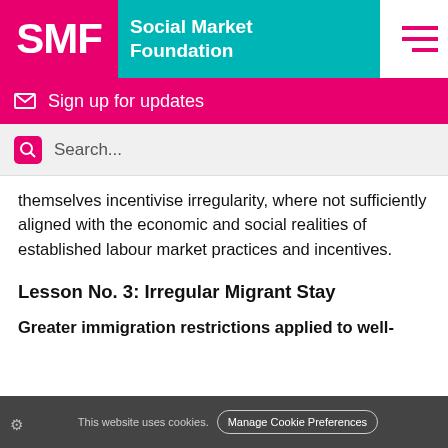[Figure (logo): Social Market Foundation logo: pink SMF box, teal 'Social Market Foundation' text, hamburger menu icon]
[Figure (other): Pink banner: envelope icon and 'Sign up for updates' text]
[Figure (other): Light grey search bar with pink search icon and 'Search...' placeholder]
themselves incentivise irregularity, where not sufficiently aligned with the economic and social realities of established labour market practices and incentives.
Lesson No. 3: Irregular Migrant Stay
Greater immigration restrictions applied to well-
This website uses cookies. Manage Cookie Preferences